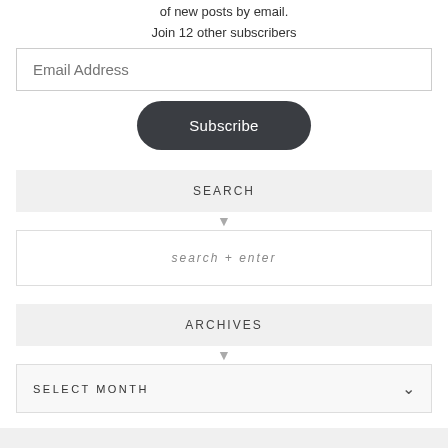of new posts by email.
Join 12 other subscribers
Email Address
Subscribe
SEARCH
search + enter
ARCHIVES
SELECT MONTH